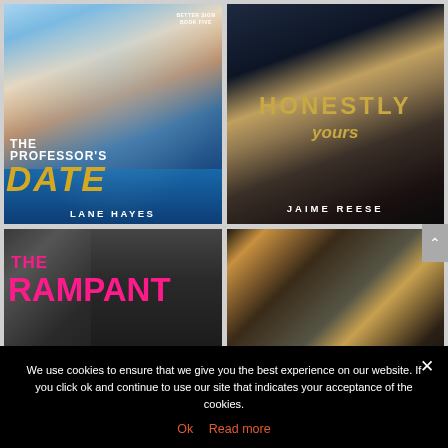[Figure (illustration): Book cover: The Professor's Date by Lane Hayes. Man with glasses in light blue shirt against blue bokeh background. Large gold italic text 'DATE', white text 'THE PROFESSOR'S' above, white author name 'LANE HAYES' at bottom.]
[Figure (illustration): Book cover: Honestly Yours by Jaime Reese. Man in black shirt against dark background. Gold text 'HONESTLY' and cursive 'yours', white author name 'JAIME REESE' at bottom.]
[Figure (illustration): Book cover: The Rampant. Dark background with pink/magenta text 'THE RAMPANT', partially visible book cover.]
[Figure (illustration): Book cover: Fourth book, dark moody cover with man's face visible, partially cut off.]
We use cookies to ensure that we give you the best experience on our website. If you click ok and continue to use our site that indicates your acceptance of the cookies.
Ok   Read more